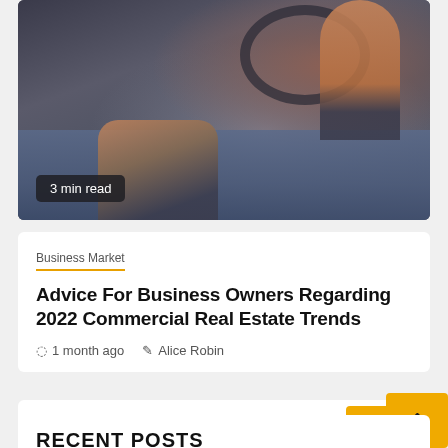[Figure (photo): Close-up photo of a person sitting in a car, hands near steering wheel, wearing jeans and dark jacket. Badge reading '3 min read' overlaid at bottom left.]
Business Market
Advice For Business Owners Regarding 2022 Commercial Real Estate Trends
1 month ago   Alice Robin
Search ...
Search
RECENT POSTS